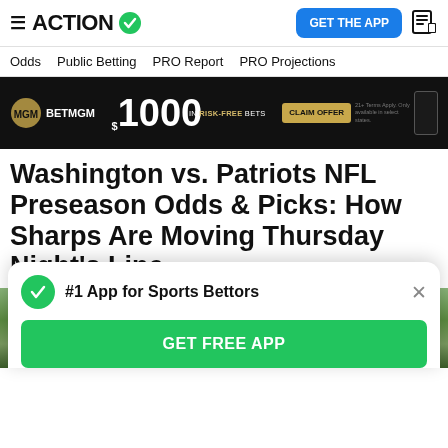ACTION
Odds  Public Betting  PRO Report  PRO Projections
[Figure (photo): BetMGM advertisement banner showing $1000 in risk-free bets with a Claim Offer button]
Washington vs. Patriots NFL Preseason Odds & Picks: How Sharps Are Moving Thursday Night's Line
[Figure (photo): NFL players wearing helmets on a green field background]
#1 App for Sports Bettors
GET FREE APP